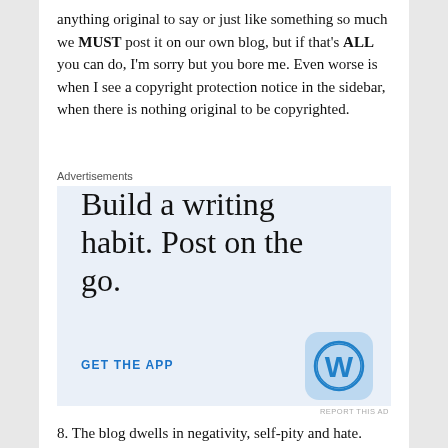anything original to say or just like something so much we MUST post it on our own blog, but if that's ALL you can do, I'm sorry but you bore me. Even worse is when I see a copyright protection notice in the sidebar, when there is nothing original to be copyrighted.
Advertisements
[Figure (infographic): WordPress advertisement: 'Build a writing habit. Post on the go.' with GET THE APP button and WordPress logo icon on light blue background.]
8. The blog dwells in negativity, self-pity and hate. This is a